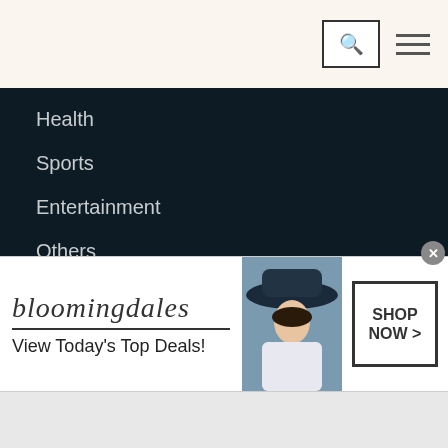Health
Sports
Entertainment
Others
— — — —
Online Rates Ad Tariff
[Figure (advertisement): Bloomingdales ad banner: bloomingdales logo, 'View Today's Top Deals!', model with large hat, 'SHOP NOW >' button]